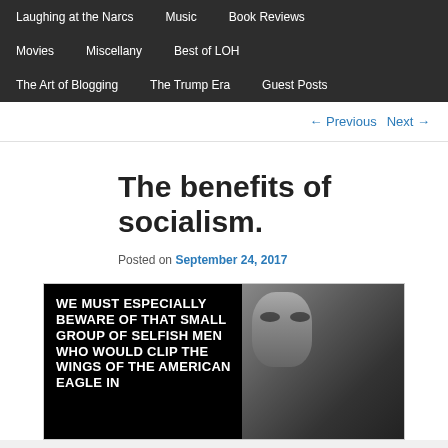Laughing at the Narcs  Music  Book Reviews
Movies  Miscellany  Best of LOH
The Art of Blogging  The Trump Era  Guest Posts
← Previous   Next →
The benefits of socialism.
Posted on September 24, 2017
[Figure (photo): Black and white photo of a person alongside bold white text on black background reading: WE MUST ESPECIALLY BEWARE OF THAT SMALL GROUP OF SELFISH MEN WHO WOULD CLIP THE WINGS OF THE AMERICAN EAGLE IN]